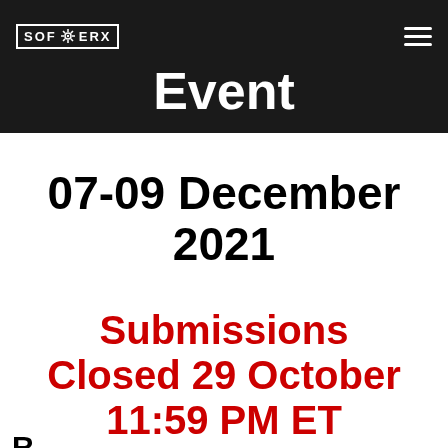SOFWERX [logo/hamburger menu]
Event
07-09 December 2021
Submissions Closed 29 October 11:59 PM ET
R